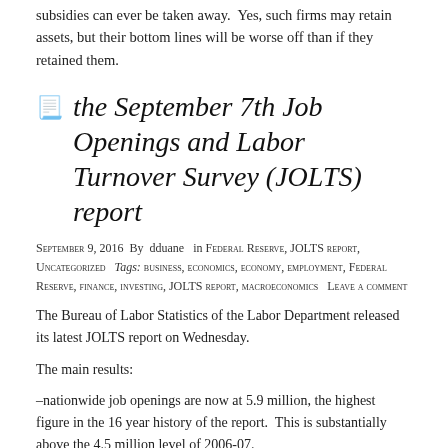subsidies can ever be taken away. Yes, such firms may retain assets, but their bottom lines will be worse off than if they retained them.
the September 7th Job Openings and Labor Turnover Survey (JOLTS) report
September 9, 2016  By  dduane   in Federal Reserve, JOLTS report, Uncategorized   Tags: business, economics, economy, employment, Federal Reserve, finance, investing, JOLTS report, macroeconomics   Leave a comment
The Bureau of Labor Statistics of the Labor Department released its latest JOLTS report on Wednesday.
The main results:
–nationwide job openings are now at 5.9 million, the highest figure in the 16 year history of the report.  This is substantially above the 4.5 million level of 2006-07.
–the rate of new hires has been flat for about two years at just over 5